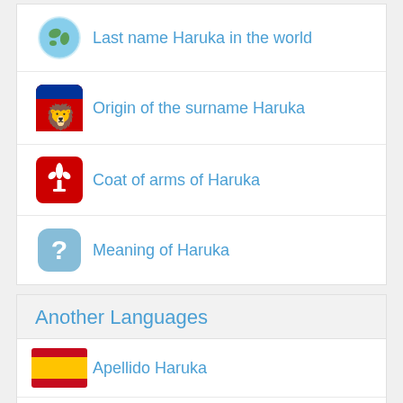Last name Haruka in the world
Origin of the surname Haruka
Coat of arms of Haruka
Meaning of Haruka
Another Languages
Apellido Haruka
Nom de Famille Haruka
Nachname Haruka
Cognome Haruka